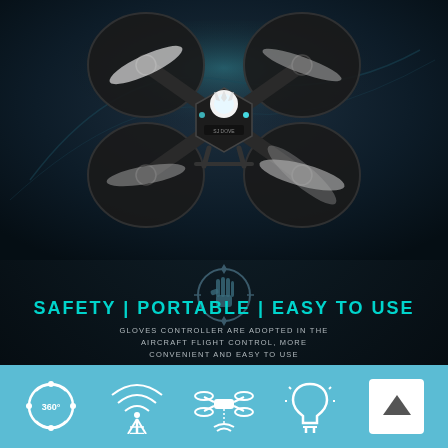[Figure (photo): Dark-themed product image of a small black quadcopter drone with glowing LED light on top, spinning propellers, and clear propeller guards, photographed on a dark textured background with subtle blue swirl effects.]
[Figure (illustration): Circular hand/glove gesture icon with decorative diamond accents above and below, rendered in dark teal/grey tones, representing glove controller for drone.]
SAFETY | PORTABLE | EASY TO USE
GLOVES CONTROLLER ARE ADOPTED IN THE AIRCRAFT FLIGHT CONTROL, MORE CONVENIENT AND EASY TO USE
[Figure (infographic): Light blue bottom bar with four white icons: 360-degree rotation icon, signal/tower icon, drone/altitude icon, and LED/light icon. A white square button with upward arrow on the far right.]